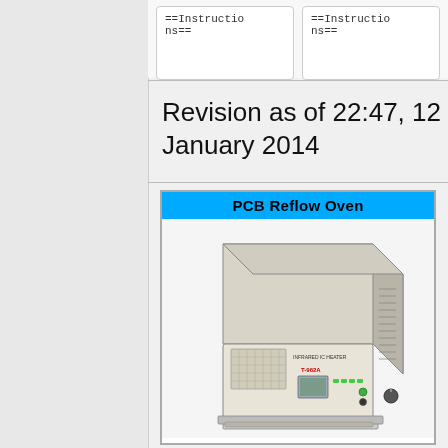==Instructions==
==Instructions==
Revision as of 22:47, 12 January 2014
[Figure (photo): PCB Reflow Oven - T-962A Infrared IC Heater device, a desktop reflow oven with LCD display and control panel, shown in beige/cream color.]